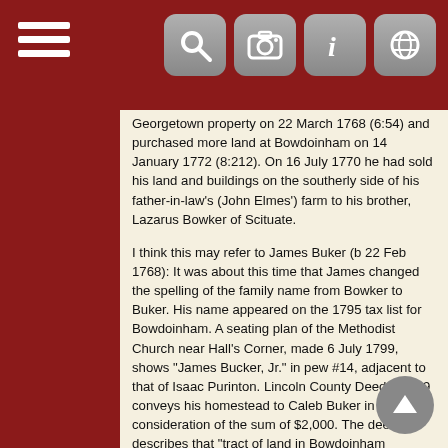Toolbar with hamburger menu and navigation icons
Georgetown property on 22 March 1768 (6:54) and purchased more land at Bowdoinham on 14 January 1772 (8:212). On 16 July 1770 he had sold his land and buildings on the southerly side of his father-in-law's (John Elmes') farm to his brother, Lazarus Bowker of Scituate.
I think this may refer to James Buker (b 22 Feb 1768): It was about this time that James changed the spelling of the family name from Bowker to Buker. His name appeared on the 1795 tax list for Bowdoinham. A seating plan of the Methodist Church near Hall's Corner, made 6 July 1799, shows "James Bucker, Jr." in pew #14, adjacent to that of Isaac Purinton. Lincoln County Deed 78:199 conveys his homestead to Caleb Buker in consideration of the sum of $2,000. The deed describes that "tract of land in Bowdoinham bounded ... Southerly on land owned by Joshua Beal, westerly on Abergadasset River, Northerly on land I sold James Buker Jur, and Easterly on land in the possession of the heirs of Benjamin Hallowell of Boston, Esq. deceased... The said Caleb Buker is not to come into the possession of the above premises till after the death of me & my wife ... this twenty fifth Day of February in the Year of our Lord One thousand eight hundred and thirteen ... in Presence of James Rogers and William Rogers."
----
Marriage book of Rev. Samuel Easton, page 19 has:
James Booker and Parience Dinslow were married July